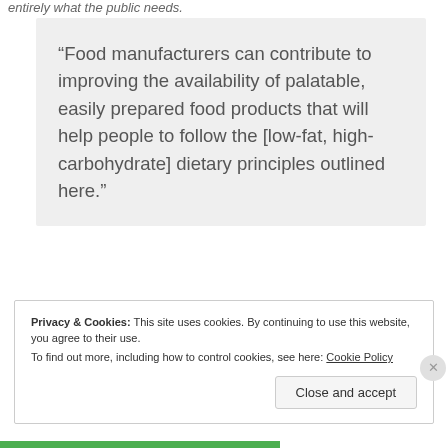entirely what the public needs.
“Food manufacturers can contribute to improving the availability of palatable, easily prepared food products that will help people to follow the [low-fat, high-carbohydrate] dietary principles outlined here.”
Privacy & Cookies: This site uses cookies. By continuing to use this website, you agree to their use.
To find out more, including how to control cookies, see here: Cookie Policy
Close and accept